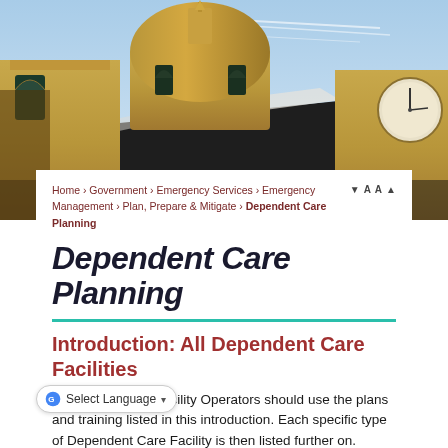[Figure (photo): Exterior photo of a government or civic building with a domed roof, ornate stone architecture, and a steeple, taken at sunset/golden hour with a blue sky and light cloud streaks.]
Home › Government › Emergency Services › Emergency Management › Plan, Prepare & Mitigate › Dependent Care Planning
Dependent Care Planning
Introduction: All Dependent Care Facilities
Dependent Care Facility Operators should use the plans and training listed in this introduction. Each specific type of Dependent Care Facility is then listed further on.